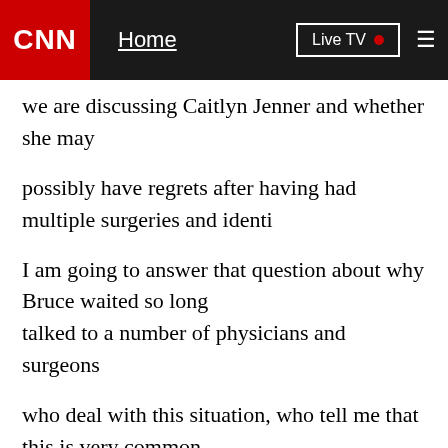CNN | Home | Live TV
we are discussing Caitlyn Jenner and whether she may
possibly have regrets after having had multiple surgeries and identi
I am going to answer that question about why Bruce waited so long talked to a number of physicians and surgeons
who deal with this situation, who tell me that this is very common. going to be a trend, that is just generally what
happens, it takes five decades for somebody to come to terms with
But they speculate rather is that it is more a function of people beco now, and the people like Bruce have been thinking